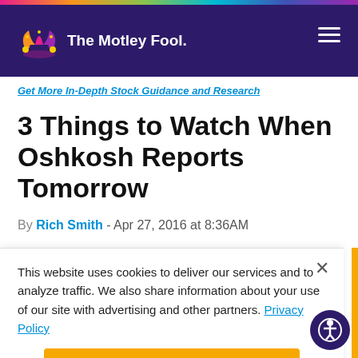The Motley Fool
Get More In-Depth Stock Guidance and Research
3 Things to Watch When Oshkosh Reports Tomorrow
By Rich Smith - Apr 27, 2016 at 8:36AM
This website uses cookies to deliver our services and to analyze traffic. We also share information about your use of our site with advertising and other partners. Privacy Policy
Got it
Cookie Settings